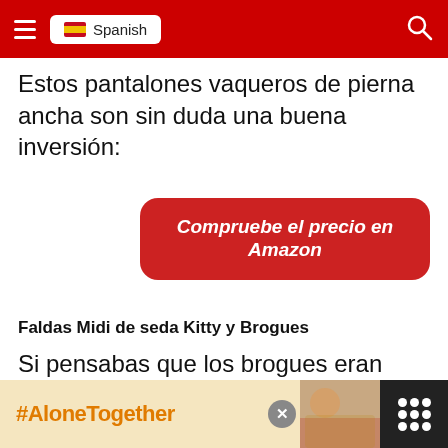☰ Spanish 🔍
Estos pantalones vaqueros de pierna ancha son sin duda una buena inversión:
[Figure (other): Red rounded button with white italic bold text: Compruebe el precio en Amazon]
Faldas Midi de seda Kitty y Brogues
Si pensabas que los brogues eran para llevarlos con vaqueros, piénsalo de nuevo. Uno de
[Figure (other): Advertisement banner with tan/cream background showing '#AloneTogether' in orange/yellow text, a close button, a photo of a person eating, and a logo box with dots in dark background.]